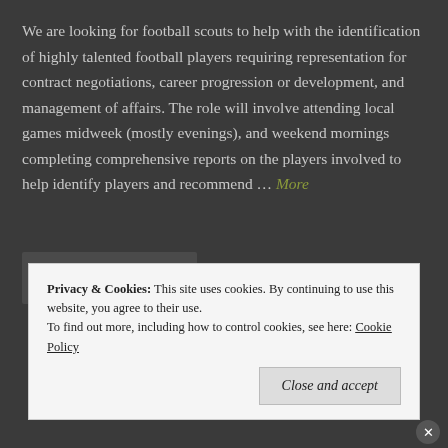We are looking for football scouts to help with the identification of highly talented football players requiring representation for contract negotiations, career progression or development, and management of affairs. The role will involve attending local games midweek (mostly evenings), and weekend mornings completing comprehensive reports on the players involved to help identify players and recommend ... More
[Figure (other): Icon bar with comment bubble icon and link/share icon on dark background]
Privacy & Cookies: This site uses cookies. By continuing to use this website, you agree to their use. To find out more, including how to control cookies, see here: Cookie Policy
Close and accept